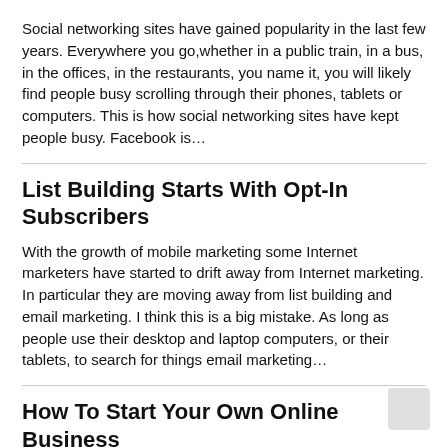Social networking sites have gained popularity in the last few years. Everywhere you go,whether in a public train, in a bus, in the offices, in the restaurants, you name it, you will likely find people busy scrolling through their phones, tablets or computers. This is how social networking sites have kept people busy. Facebook is…
List Building Starts With Opt-In Subscribers
With the growth of mobile marketing some Internet marketers have started to drift away from Internet marketing. In particular they are moving away from list building and email marketing. I think this is a big mistake. As long as people use their desktop and laptop computers, or their tablets, to search for things email marketing…
How To Start Your Own Online Business
Those of us who have been doing Internet marketing for